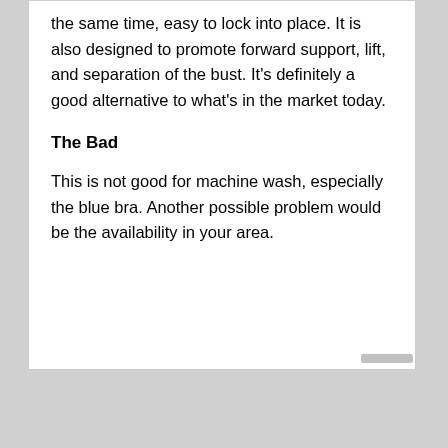the same time, easy to lock into place. It is also designed to promote forward support, lift, and separation of the bust. It's definitely a good alternative to what's in the market today.
The Bad
This is not good for machine wash, especially the blue bra. Another possible problem would be the availability in your area.